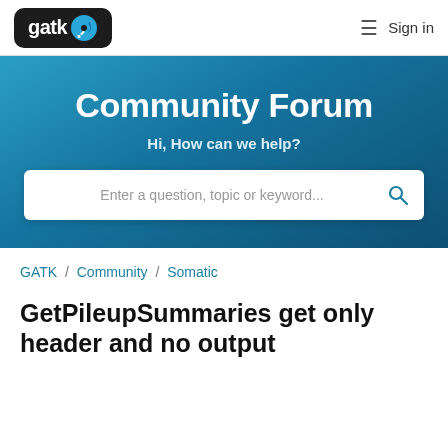[Figure (logo): GATK logo with wrench icon on dark background]
Sign in
Community Forum
Hi, How can we help?
Enter a question, topic or keyword...
GATK / Community / Somatic
GetPileupSummaries get only header and no output